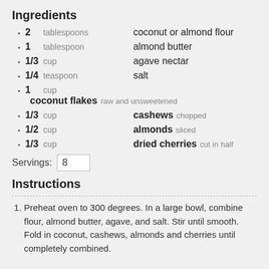Ingredients
2 tablespoons  coconut or almond flour
1 tablespoon  almond butter
1/3 cup  agave nectar
1/4 teaspoon  salt
1 cup  coconut flakes  raw and unsweetened
1/3 cup  cashews  chopped
1/2 cup  almonds  sliced
1/3 cup  dried cherries  cut in half
Servings: 8
Instructions
1. Preheat oven to 300 degrees. In a large bowl, combine flour, almond butter, agave, and salt. Stir until smooth. Fold in coconut, cashews, almonds and cherries until completely combined.